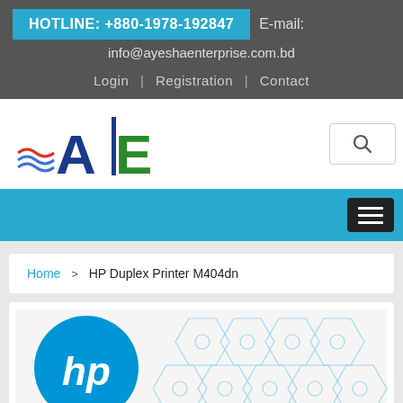HOTLINE: +880-1978-192847   E-mail: info@ayeshaenterprise.com.bd
Login | Registration | Contact
[Figure (logo): AE (Ayesha Enterprise) logo with blue and green letters and wave design]
Home > HP Duplex Printer M404dn
[Figure (photo): HP Duplex Printer M404dn product image with HP logo and hexagonal pattern background]